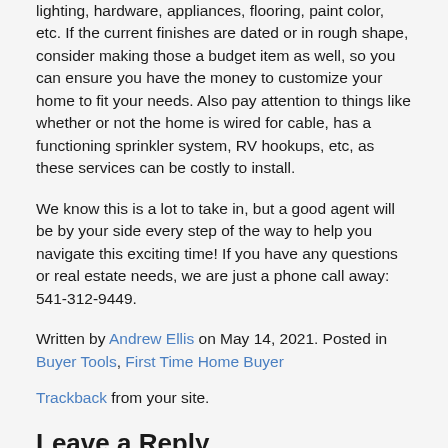lighting, hardware, appliances, flooring, paint color, etc. If the current finishes are dated or in rough shape, consider making those a budget item as well, so you can ensure you have the money to customize your home to fit your needs. Also pay attention to things like whether or not the home is wired for cable, has a functioning sprinkler system, RV hookups, etc, as these services can be costly to install.
We know this is a lot to take in, but a good agent will be by your side every step of the way to help you navigate this exciting time! If you have any questions or real estate needs, we are just a phone call away: 541-312-9449.
Written by Andrew Ellis on May 14, 2021. Posted in Buyer Tools, First Time Home Buyer
Trackback from your site.
Leave a Reply